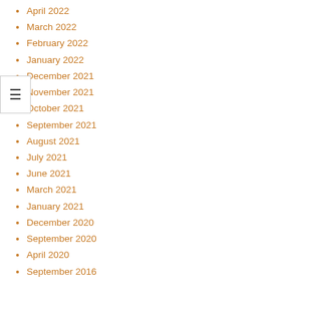April 2022
March 2022
February 2022
January 2022
December 2021
November 2021
October 2021
September 2021
August 2021
July 2021
June 2021
March 2021
January 2021
December 2020
September 2020
April 2020
September 2016